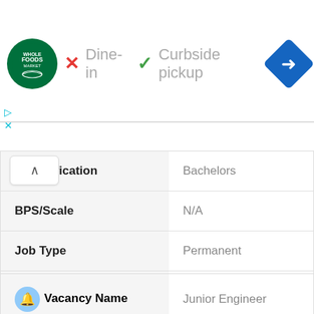[Figure (screenshot): Whole Foods Market ad banner showing logo, Dine-in with red X, Curbside pickup with green checkmark, and blue navigation diamond icon]
| n Qualification | Bachelors |
| BPS/Scale | N/A |
| Job Type | Permanent |
| Salary | N/A |
| Vacancy Name | Junior Engineer |